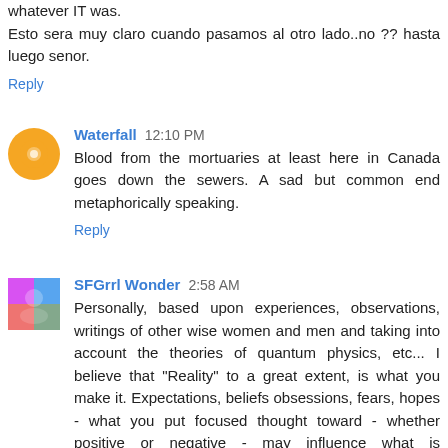whatever IT was.
Esto sera muy claro cuando pasamos al otro lado..no ?? hasta luego senor.
Reply
Waterfall  12:10 PM
Blood from the mortuaries at least here in Canada goes down the sewers. A sad but common end metaphorically speaking.
Reply
SFGrrl Wonder  2:58 AM
Personally, based upon experiences, observations, writings of other wise women and men and taking into account the theories of quantum physics, etc... I believe that "Reality" to a great extent, is what you make it. Expectations, beliefs obsessions, fears, hopes - what you put focused thought toward - whether positive or negative - may influence what is experienced. I believe this is true - to some extent - both